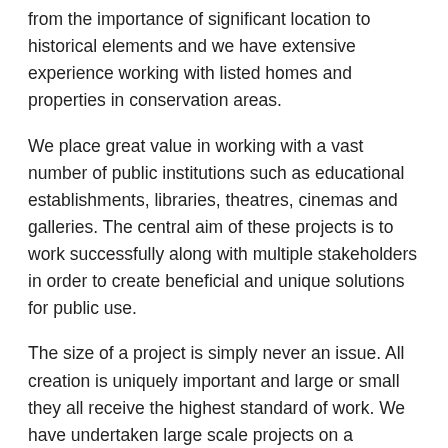from the importance of significant location to historical elements and we have extensive experience working with listed homes and properties in conservation areas.
We place great value in working with a vast number of public institutions such as educational establishments, libraries, theatres, cinemas and galleries. The central aim of these projects is to work successfully along with multiple stakeholders in order to create beneficial and unique solutions for public use.
The size of a project is simply never an issue. All creation is uniquely important and large or small they all receive the highest standard of work. We have undertaken large scale projects on a domestic and international basis including five star hotels and masterplans in Bangladesh and China to name a few.
Planning permission can present complexities and